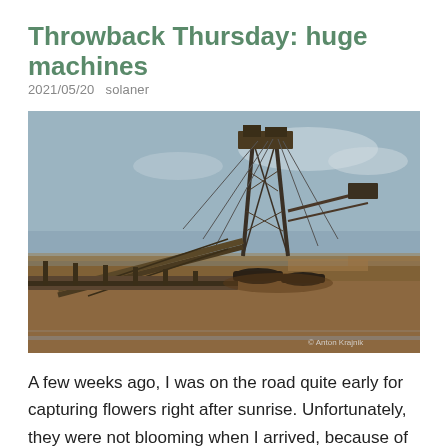Throwback Thursday: huge machines
2021/05/20   solaner
[Figure (photo): Large industrial mining machine (bucket-wheel excavator or similar) at an open-cut mine site. The machine has a tall lattice-steel tower structure with cables, a long conveyor belt arm extending to the left, and sits on tracked undercarriage on red-brown earth. Blue sky with light clouds in background. Photo credit: © Anton Krajnik]
A few weeks ago, I was on the road quite early for capturing flowers right after sunrise. Unfortunately, they were not blooming when I arrived, because of the too cold